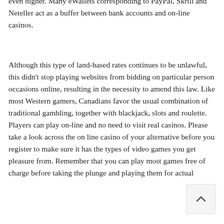even higher. Many eWallets corresponding to PayPal, Skrill and Neteller act as a buffer between bank accounts and on-line casinos.
Although this type of land-based rates continues to be unlawful, this didn't stop playing websites from bidding on particular person occasions online, resulting in the necessity to amend this law. Like most Western gamers, Canadians favor the usual combination of traditional gambling, together with blackjack, slots and roulette. Players can play on-line and no need to visit real casinos. Please take a look across the on line casino of your alternative before you register to make sure it has the types of video games you get pleasure from. Remember that you can play most games free of charge before taking the plunge and playing them for actual